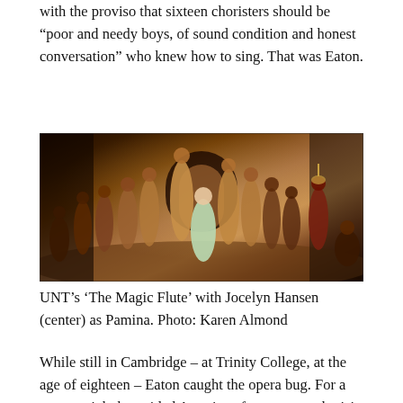with the proviso that sixteen choristers should be “poor and needy boys, of sound condition and honest conversation” who knew how to sing. That was Eaton.
[Figure (photo): Stage performance photo of UNT's 'The Magic Flute' with multiple performers in costume on a theatrical stage with warm amber and dark background lighting. A woman in a green/white dress stands center foreground looking upward, surrounded by other cast members in elaborate period costumes.]
UNT’s ‘The Magic Flute’ with Jocelyn Hansen (center) as Pamina. Photo: Karen Almond
While still in Cambridge – at Trinity College, at the age of eighteen – Eaton caught the opera bug. For a summer job, he guided American fans on a crash visit